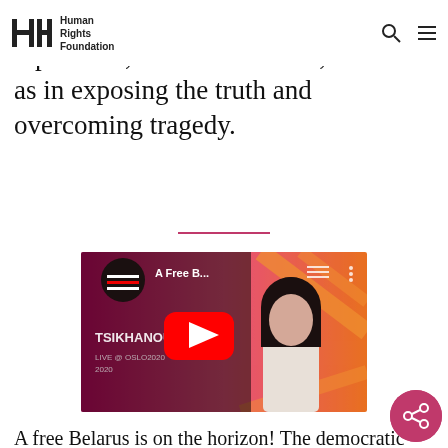Human Rights Foundation
challenging corruption, war, repression, and sectarianism, as well as in exposing the truth and overcoming tragedy.
[Figure (screenshot): YouTube video thumbnail showing 'A Free B...' with a woman (Sviatlana Tsikhanouskaya) on a pink/orange background with a YouTube play button overlay]
A free Belarus is on the horizon! The democratic leader of Belarus, Sviatlana Tsikhanouskaya, discussed the next stage of the revolution